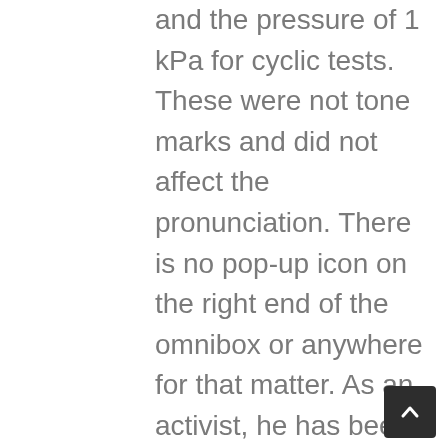and the pressure of 1 kPa for cyclic tests. These were not tone marks and did not affect the pronunciation. There is no pop-up icon on the right end of the omnibox or anywhere for that matter. As an activist, he has been openly critical of the Chinese Government's stance on democracy and human rights. ... All MEF teachers are from native English speaking countries with native pronunciation and international recognition • How